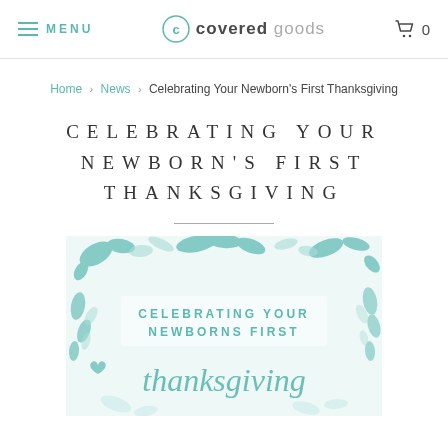MENU | covered goods | 0
Home › News › Celebrating Your Newborn's First Thanksgiving
CELEBRATING YOUR NEWBORN'S FIRST THANKSGIVING
[Figure (illustration): Decorative image with teal botanical/floral border elements and text reading 'CELEBRATING YOUR NEWBORNS FIRST thanksgiving']